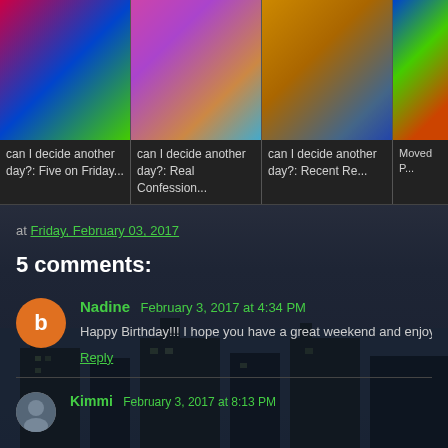[Figure (photo): Neon lights photo thumbnail for blog post 'can I decide another day?: Five on Friday...']
can I decide another day?: Five on Friday...
[Figure (photo): Bokeh lights photo thumbnail for blog post 'can I decide another day?: Real Confession...']
can I decide another day?: Real Confession...
[Figure (photo): Aerial view photo thumbnail for blog post 'can I decide another day?: Recent Re...']
can I decide another day?: Recent Re...
[Figure (photo): Colorful figures photo thumbnail for blog post 'Moved P...']
Moved P...
at Friday, February 03, 2017
5 comments:
Nadine  February 3, 2017 at 4:34 PM
Happy Birthday!!! I hope you have a great weekend and enjoy th
Reply
Kimmi  February 3, 2017 at 8:13 PM